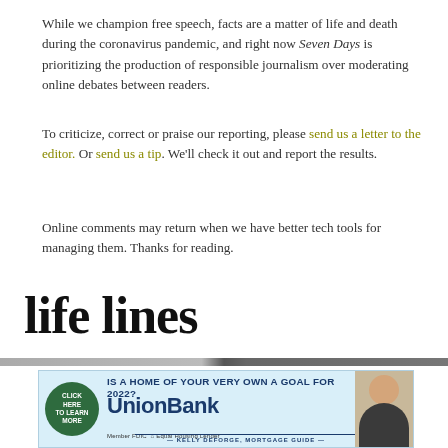While we champion free speech, facts are a matter of life and death during the coronavirus pandemic, and right now Seven Days is prioritizing the production of responsible journalism over moderating online debates between readers.
To criticize, correct or praise our reporting, please send us a letter to the editor. Or send us a tip. We'll check it out and report the results.
Online comments may return when we have better tech tools for managing them. Thanks for reading.
life lines
[Figure (other): Union Bank advertisement: 'IS A HOME OF YOUR VERY OWN A GOAL FOR 2022?' with a green circular button 'CLICK HERE to learn more', UnionBank logo, Member FDIC Equal Housing Lender, Kelly DeForge Mortgage Guide, and a photo of a woman.]